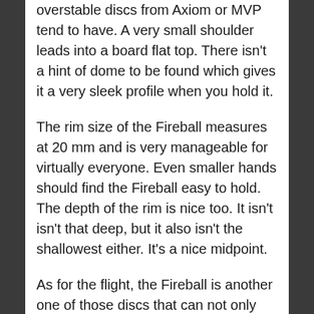overstable discs from Axiom or MVP tend to have. A very small shoulder leads into a board flat top. There isn't a hint of dome to be found which gives it a very sleek profile when you hold it.
The rim size of the Fireball measures at 20 mm and is very manageable for virtually everyone. Even smaller hands should find the Fireball easy to hold. The depth of the rim is nice too. It isn't isn't that deep, but it also isn't the shallowest either. It's a nice midpoint.
As for the flight, the Fireball is another one of those discs that can not only handle the power, it flies better the more you give it. The high speed stability is certainly there, but you can really work with it. We noted in our review of the Motion how we could